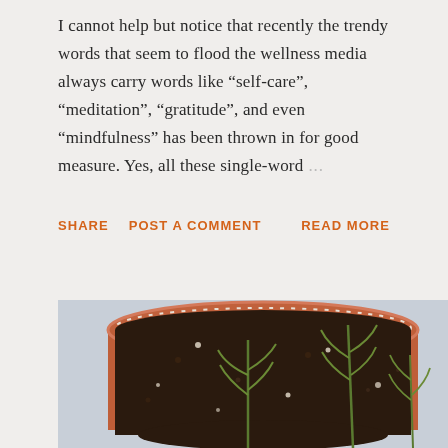I cannot help but notice that recently the trendy words that seem to flood the wellness media always carry words like “self-care”, “meditation”, “gratitude”, and even “mindfulness” has been thrown in for good measure. Yes, all these single-word ...
SHARE   POST A COMMENT   READ MORE
[Figure (photo): Close-up photo of a terracotta pot filled with dark soil, with several small green herb seedlings (resembling rosemary sprouts) growing from it. The background is a light blue-grey.]